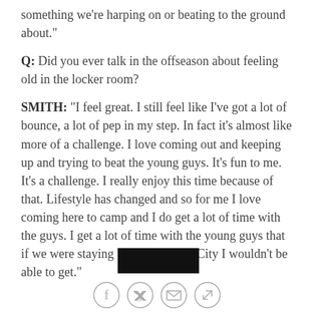something we're harping on or beating to the ground about."
Q: Did you ever talk in the offseason about feeling old in the locker room?
SMITH: "I feel great. I still feel like I've got a lot of bounce, a lot of pep in my step. In fact it's almost like more of a challenge. I love coming out and keeping up and trying to beat the young guys. It's fun to me. It's a challenge. I really enjoy this time because of that. Lifestyle has changed and so for me I love coming here to camp and I do get a lot of time with the guys. I get a lot of time with the young guys that if we were staying back in Kansas City I wouldn't be able to get."
[Figure (photo): Dark/black banner image at the bottom of the article]
[Figure (infographic): Social sharing icons: Facebook, Twitter, Email, Link]